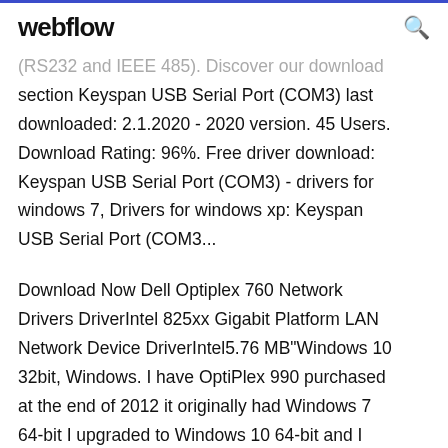webflow
(RS232 and IEEE 485). Discover our download section Keyspan USB Serial Port (COM3) last downloaded: 2.1.2020 - 2020 version. 45 Users. Download Rating: 96%. Free driver download: Keyspan USB Serial Port (COM3) - drivers for windows 7, Drivers for windows xp: Keyspan USB Serial Port (COM3...
Download Now Dell Optiplex 760 Network Drivers DriverIntel 825xx Gigabit Platform LAN Network Device DriverIntel5.76 MB"Windows 10 32bit, Windows. I have OptiPlex 990 purchased at the end of 2012 it originally had Windows 7 64-bit I upgraded to Windows 10 64-bit and I am unable to find a driver for the PCI  30 Oct